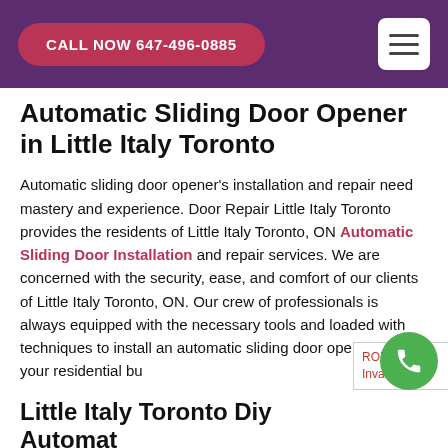CALL NOW 647-496-0885
Automatic Sliding Door Opener in Little Italy Toronto
Automatic sliding door opener's installation and repair need mastery and experience. Door Repair Little Italy Toronto provides the residents of Little Italy Toronto, ON Automatic Sliding Door Installation and repair services. We are concerned with the security, ease, and comfort of our clients of Little Italy Toronto, ON. Our crew of professionals is always equipped with the necessary tools and loaded with techniques to install an automatic sliding door opener for your residential bu
Little Italy Toronto Diy Automatic Sliding Door Opener